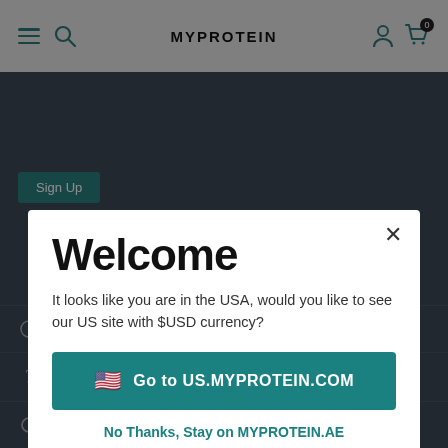[Figure (screenshot): MYPROTEIN website header with hamburger menu, search icon, logo, user icon, and cart icon with 0 badge on grey background]
Sign Up
Welcome
It looks like you are in the USA, would you like to see our US site with $USD currency?
Go to US.MYPROTEIN.COM
No Thanks, Stay on MYPROTEIN.AE
Contact us
Help centre
Returns Policy